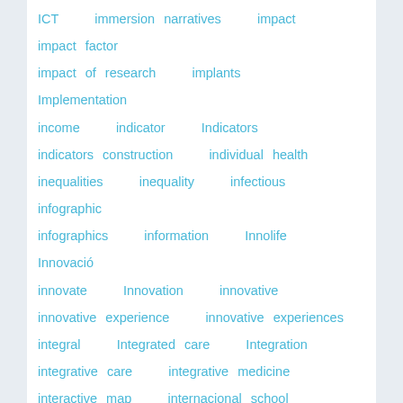ICT   immersion narratives   impact   impact factor   impact of research   implants   Implementation   income   indicator   Indicators   indicators construction   individual health   inequalities   inequality   infectious   infographic   infographics   information   Innolife   Innovació   innovate   Innovation   innovative   innovative experience   innovative experiences   integral   Integrated care   Integration   integrative care   integrative medicine   interactive map   internacional school   Internet of the Things   interoperability   interviews   investment   involvement   ischemic stroke   IT   IWD2018   JAMA   Jillian Reynolds   Joan MV Pons   journalism   Kayla Smith   KIC   King's fund   King's fund   knee   large vessel occlusion   Law of Equality   leadership   learning